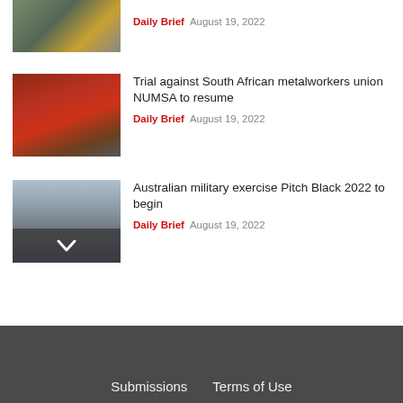[Figure (photo): Partial view of people with flags (Brazil/South Africa flags visible), military personnel in the background.]
Daily Brief  August 19, 2022
[Figure (photo): People in red clothing with fists raised, appearing to be trade union workers or protesters.]
Trial against South African metalworkers union NUMSA to resume
Daily Brief  August 19, 2022
[Figure (photo): Military jet aircraft on a runway, with a chevron/down-arrow overlay at the bottom of the image.]
Australian military exercise Pitch Black 2022 to begin
Daily Brief  August 19, 2022
Submissions   Terms of Use